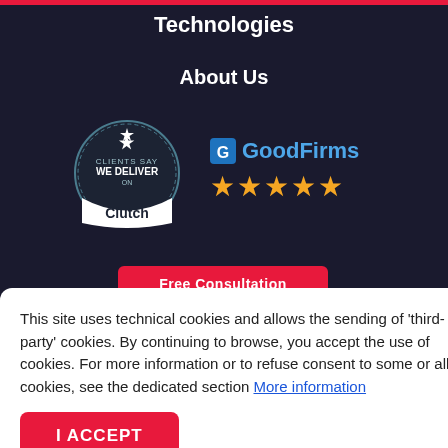Technologies
About Us
[Figure (logo): Clutch badge: circular badge with star and text 'CLIENTS SAY WE DELIVER ON Clutch']
[Figure (logo): GoodFirms logo with blue icon and text, followed by five gold stars rating]
Free Consultation
[Figure (other): YouTube play button icon]
ased on reviews of
↑
t Company.
This site uses technical cookies and allows the sending of 'third-party' cookies. By continuing to browse, you accept the use of cookies. For more information or to refuse consent to some or all cookies, see the dedicated section More information
I ACCEPT